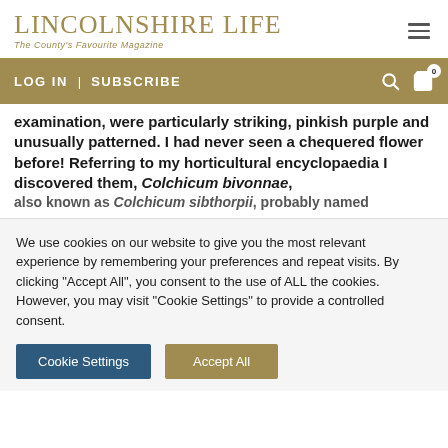LINCOLNSHIRE LIFE — The County's Favourite Magazine
LOG IN  |  SUBSCRIBE
examination, were particularly striking, pinkish purple and unusually patterned. I had never seen a chequered flower before! Referring to my horticultural encyclopaedia I discovered them, Colchicum bivonnae, also known as Colchicum sibthorpii, probably named
We use cookies on our website to give you the most relevant experience by remembering your preferences and repeat visits. By clicking "Accept All", you consent to the use of ALL the cookies. However, you may visit "Cookie Settings" to provide a controlled consent.
Cookie Settings   Accept All